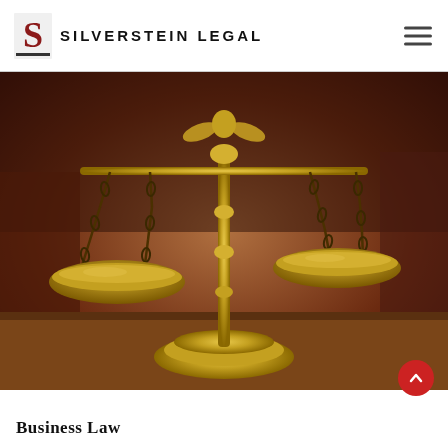SILVERSTEIN LEGAL
[Figure (photo): Close-up photograph of a brass scales of justice on a wooden surface, with a blurred courtroom or library background showing dark wood and red tones.]
Business Law